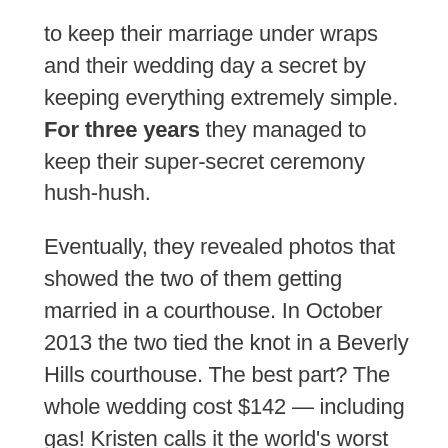to keep their marriage under wraps and their wedding day a secret by keeping everything extremely simple. For three years they managed to keep their super-secret ceremony hush-hush.
Eventually, they revealed photos that showed the two of them getting married in a courthouse. In October 2013 the two tied the knot in a Beverly Hills courthouse. The best part? The whole wedding cost $142 — including gas! Kristen calls it the world's worst wedding, even though she wouldn't change anything for the world.
7 Margot Robbie & Tom Ackerley